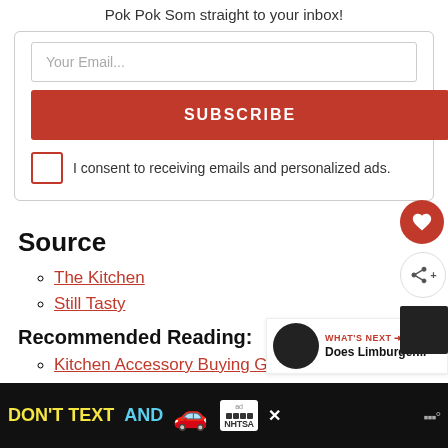Pok Pok Som straight to your inbox!
Your Email...
SUBSCRIBE
I consent to receiving emails and personalized ads.
Source
The Kitchen
Still Tasty
Recommended Reading:
Kitchen Accessory Buying Guides
[Figure (screenshot): WHAT'S NEXT panel with Does Limburger... text and thumbnail image]
[Figure (infographic): Ad banner: DON'T TEXT AND [car emoji] with NHTSA branding on black background]